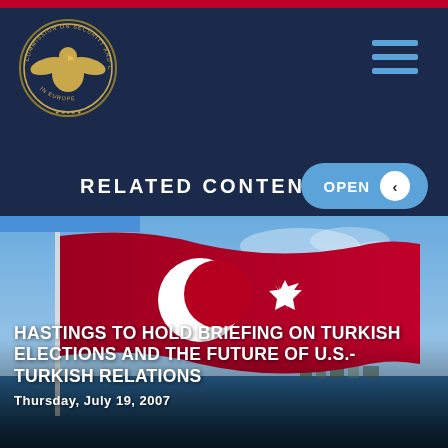[Figure (logo): Commission on Security and Cooperation in Europe (CSCE) official seal/logo — eagle emblem in gold on dark blue circular badge]
RELATED CONTENT
[Figure (photo): Turkish flag (red with white crescent moon and star) waving against a blue sky with a coastal town visible in the background]
HASTINGS TO HOLD BRIEFING ON TURKISH ELECTIONS AND THE FUTURE OF U.S.-TURKISH RELATIONS
THURSDAY, JULY 19, 2007